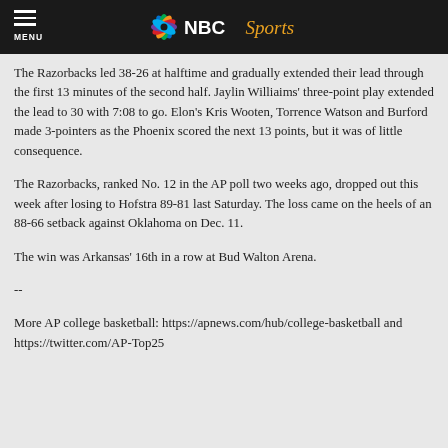MENU | NBC Sports
The Razorbacks led 38-26 at halftime and gradually extended their lead through the first 13 minutes of the second half. Jaylin Williaims' three-point play extended the lead to 30 with 7:08 to go. Elon's Kris Wooten, Torrence Watson and Burford made 3-pointers as the Phoenix scored the next 13 points, but it was of little consequence.
The Razorbacks, ranked No. 12 in the AP poll two weeks ago, dropped out this week after losing to Hofstra 89-81 last Saturday. The loss came on the heels of an 88-66 setback against Oklahoma on Dec. 11.
The win was Arkansas' 16th in a row at Bud Walton Arena.
--
More AP college basketball: https://apnews.com/hub/college-basketball and https://twitter.com/AP-Top25